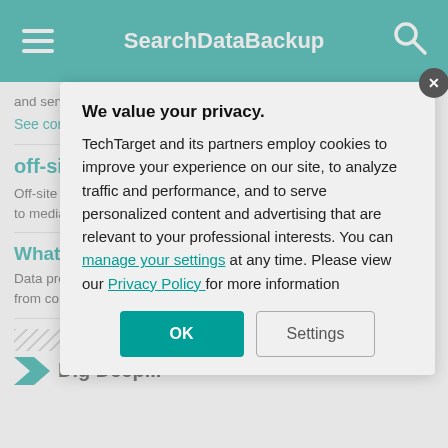SearchDataBackup
and services intended to back up data, applications and other ...
See complete definition ℹ
off-site backup
Off-site backup is a method of backing up data to a remote server or to media that is trans...
What is data pr...
Data protection is th... from corruption, com...
Dig Deep...
[Figure (screenshot): Privacy consent modal dialog with title 'We value your privacy.' showing TechTarget cookie consent text, manage your settings and Privacy Policy links, and OK and Settings buttons.]